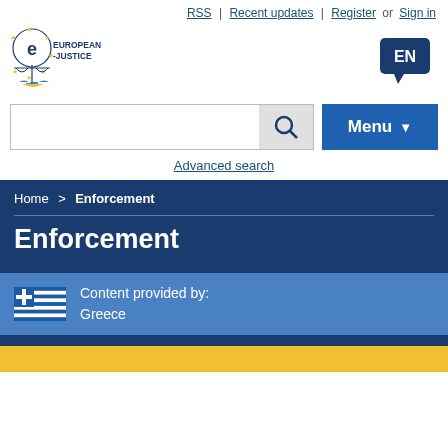RSS | Recent updates | Register or Sign in
[Figure (logo): European e-Justice portal logo with scales of justice icon and star circle, text: e EUROPEAN -JUSTICE]
[Figure (other): EN language selection button (dark blue speech bubble)]
[Figure (screenshot): Search bar with magnifying glass icon and blue Menu button with dropdown arrow]
Advanced search
Home > Enforcement
Enforcement
Content provided by:
Greece